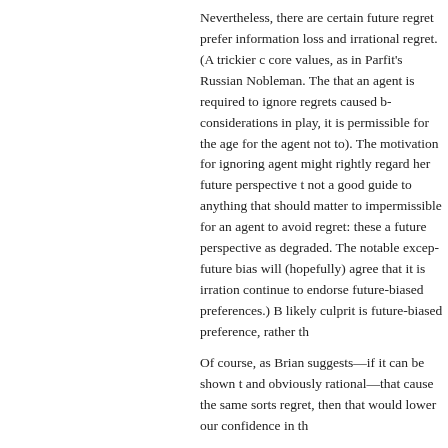Nevertheless, there are certain future regret preferences that are caused by information loss and irrational regret. (A trickier case involves changes in core values, as in Parfit's Russian Nobleman. The standard view here is that an agent is required to ignore regrets caused by core value change; if considerations in play, it is permissible for the agent to (but not required for the agent not to). The motivation for ignoring these regrets is that an agent might rightly regard her future perspective that results from these as not a good guide to anything that should matter to her. It may be permissible, impermissible for an agent to avoid regret: these are cases where we regard the future perspective as degraded. The notable exception is future bias: even one who has a future bias will (hopefully) agree that it is irrational and thus we cannot continue to endorse future-biased preferences.) But in the Russian Nobleman, the likely culprit is future-biased preference, rather th...
Of course, as Brian suggests—if it can be shown that there are other things and obviously rational—that cause the same sorts of preferences to survive regret, then that would lower our confidence in th...
As we briefly note in the essay, discounting the future by psychological continuity is indeed different from discounting the future by future bias. Brian is right to point out that we cannot so simply say that it applies that it has implications for weak no regrets. The problem is that if an agent allows herself to regret her choice at some point in the future, her psychological connectedness will diminish over time. We suspect that a policy of regret avoidance will weigh future regret by psychological connectedness. Weighing her preferences through time would thus be sensit...
Posted by: Preston Greene | July 16, 2015 at 05:50 AM